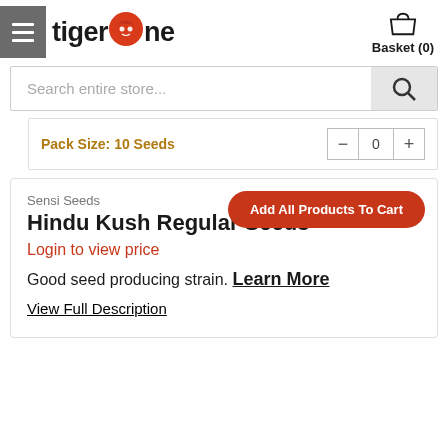tiger one — Basket (0)
Search entire store...
Pack Size: 10 Seeds
Add All Products To Cart
Sensi Seeds
Hindu Kush Regular Seeds
Login to view price
Good seed producing strain. Learn More
View Full Description